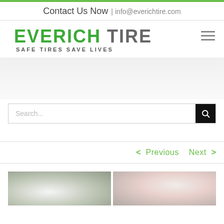Contact Us Now | info@everichtire.com
EVERICH TIRE — SAFE TIRES SAVE LIVES
[Figure (infographic): Hamburger menu icon (three horizontal lines)]
[Figure (other): Gray gradient banner area]
[Figure (other): Search bar with magnifying glass button]
< Previous   Next >
[Figure (photo): Two thumbnail photos: left shows winter/snow scene, right shows person in pink coat in snowy setting]